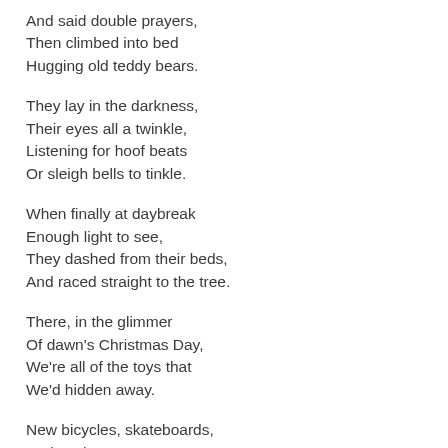And said double prayers,
Then climbed into bed
Hugging old teddy bears.
They lay in the darkness,
Their eyes all a twinkle,
Listening for hoof beats
Or sleigh bells to tinkle.
When finally at daybreak
Enough light to see,
They dashed from their beds,
And raced straight to the tree.
There, in the glimmer
Of dawn's Christmas Day,
We're all of the toys that
We'd hidden away.
New bicycles, skateboards,
And cool scooters too.
Board games and puzzles